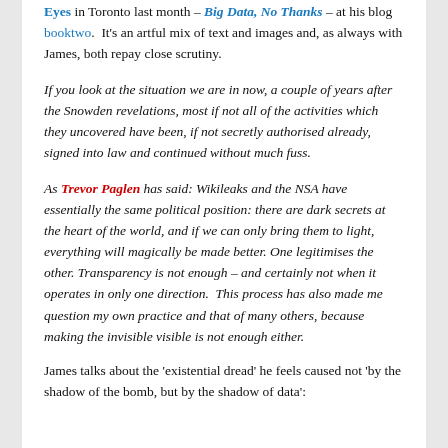Eyes in Toronto last month – Big Data, No Thanks – at his blog booktwo. It's an artful mix of text and images and, as always with James, both repay close scrutiny.
If you look at the situation we are in now, a couple of years after the Snowden revelations, most if not all of the activities which they uncovered have been, if not secretly authorised already, signed into law and continued without much fuss.
As Trevor Paglen has said: Wikileaks and the NSA have essentially the same political position: there are dark secrets at the heart of the world, and if we can only bring them to light, everything will magically be made better. One legitimises the other. Transparency is not enough – and certainly not when it operates in only one direction. This process has also made me question my own practice and that of many others, because making the invisible visible is not enough either.
James talks about the 'existential dread' he feels caused not 'by the shadow of the bomb, but by the shadow of data':